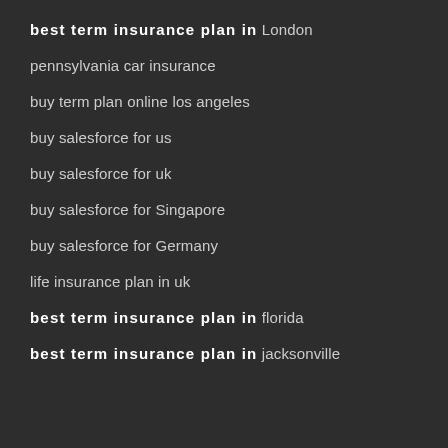best term insurance plan in London
pennsylvania car insurance
buy term plan online los angeles
buy salesforce for us
buy salesforce for uk
buy salesforce for Singapore
buy salesforce for Germany
life insurance plan in uk
best term insurance plan in florida
best term insurance plan in jacksonville